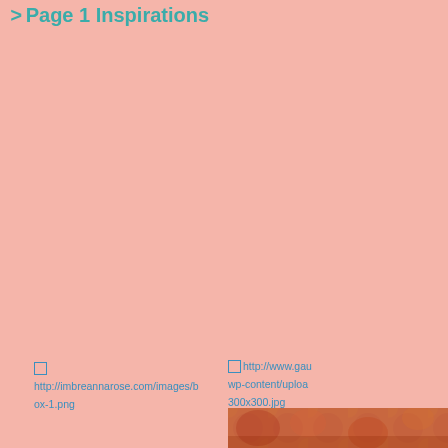> Page 1 Inspirations
[Figure (photo): Broken image placeholder linking to http://imbreannarose.com/images/box-1.png]
[Figure (photo): Broken image placeholder linking to http://www.gau wp-content/uploads 300x300.jpg]
[Figure (photo): Partially visible colorful decorative image at bottom right]